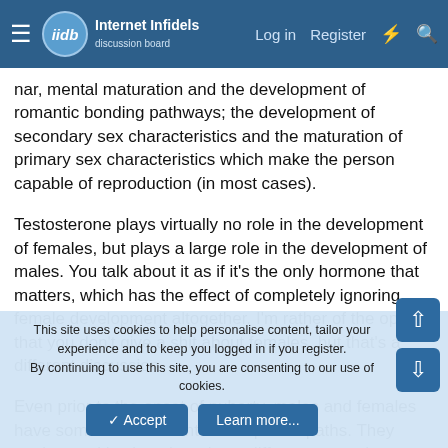Internet Infidels — Navigation bar with Log in, Register, and icon links
nar, mental maturation and the development of romantic bonding pathways; the development of secondary sex characteristics and the maturation of primary sex characteristics which make the person capable of reproduction (in most cases).
Testosterone plays virtually no role in the development of females, but plays a large role in the development of males. You talk about it as if it's the only hormone that matters, which has the effect of completely ignoring female development altogether. I'm rather of the opinion that you don't give a shit about females, but that's a different discussion.
Even prior to the onset of puberty, males and females have somewhat different development paths. They attain cognitive benchmarks at different ages, they experience growth spurts at
This site uses cookies to help personalise content, tailor your experience and to keep you logged in if you register.
By continuing to use this site, you are consenting to our use of cookies.